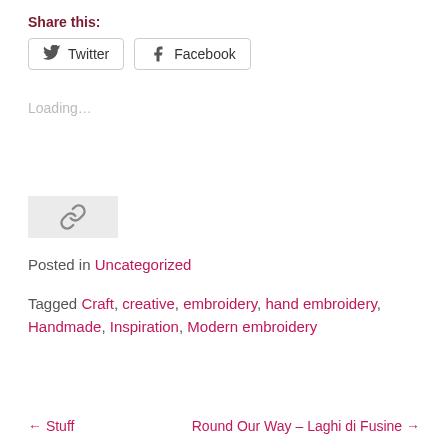Share this:
Twitter   Facebook
Loading...
[Figure (other): Link icon on light grey background]
Posted in Uncategorized
Tagged Craft, creative, embroidery, hand embroidery, Handmade, Inspiration, Modern embroidery
← Stuff    Round Our Way – Laghi di Fusine →